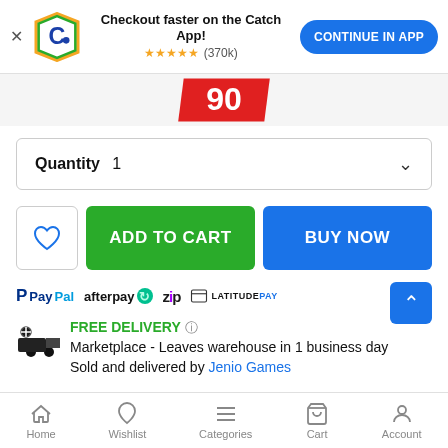[Figure (screenshot): Catch app banner with logo, 'Checkout faster on the Catch App!' text, star rating (370k), and 'CONTINUE IN APP' button]
[Figure (other): Red sale badge showing '90']
Quantity  1
[Figure (other): Add to cart and Buy Now action buttons with wishlist heart button]
[Figure (logo): Payment method logos: PayPal, afterpay, Zip, LatitudePay]
FREE DELIVERY (i)
Marketplace - Leaves warehouse in 1 business day
Sold and delivered by Jenio Games
Home   Wishlist   Categories   Cart   Account